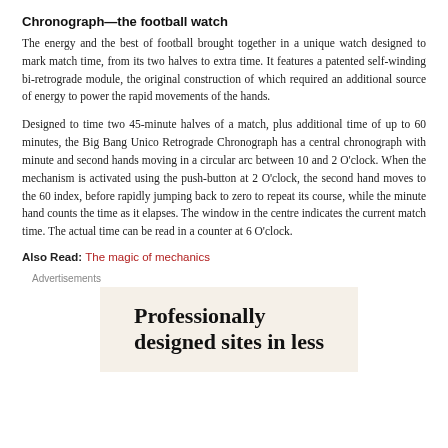Chronograph—the football watch
The energy and the best of football brought together in a unique watch designed to mark match time, from its two halves to extra time. It features a patented self-winding bi-retrograde module, the original construction of which required an additional source of energy to power the rapid movements of the hands.
Designed to time two 45-minute halves of a match, plus additional time of up to 60 minutes, the Big Bang Unico Retrograde Chronograph has a central chronograph with minute and second hands moving in a circular arc between 10 and 2 O'clock. When the mechanism is activated using the push-button at 2 O'clock, the second hand moves to the 60 index, before rapidly jumping back to zero to repeat its course, while the minute hand counts the time as it elapses. The window in the centre indicates the current match time. The actual time can be read in a counter at 6 O'clock.
Also Read: The magic of mechanics
Advertisements
[Figure (other): Advertisement banner with beige background showing text: Professionally designed sites in less]